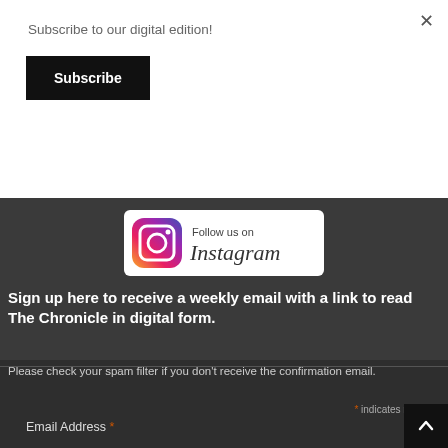Subscribe to our digital edition!
Subscribe
[Figure (logo): Follow us on Instagram banner with Instagram logo]
Sign up here to receive a weekly email with a link to read The Chronicle in digital form.
Please check your spam filter if you don't receive the confirmation email.
* indicates required
Email Address *
First Name *